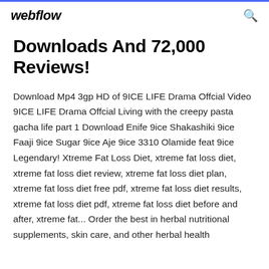webflow
Downloads And 72,000 Reviews!
Download Mp4 3gp HD of 9ICE LIFE Drama Offcial Video 9ICE LIFE Drama Offcial Living with the creepy pasta gacha life part 1 Download Enife 9ice Shakashiki 9ice Faaji 9ice Sugar 9ice Aje 9ice 3310 Olamide feat 9ice Legendary! Xtreme Fat Loss Diet, xtreme fat loss diet, xtreme fat loss diet review, xtreme fat loss diet plan, xtreme fat loss diet free pdf, xtreme fat loss diet results, xtreme fat loss diet pdf, xtreme fat loss diet before and after, xtreme fat... Order the best in herbal nutritional supplements, skin care, and other herbal health